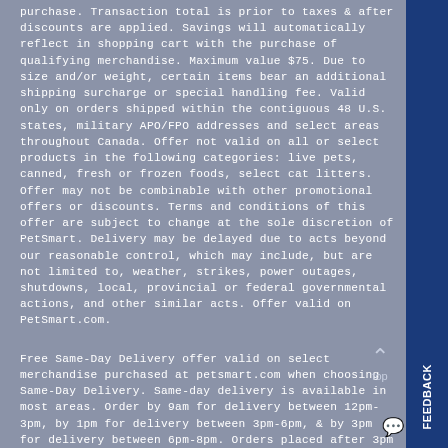purchase. Transaction total is prior to taxes & after discounts are applied. Savings will automatically reflect in shopping cart with the purchase of qualifying merchandise. Maximum value $75. Due to size and/or weight, certain items bear an additional shipping surcharge or special handling fee. Valid only on orders shipped within the contiguous 48 U.S. states, military APO/FPO addresses and select areas throughout Canada. Offer not valid on all or select products in the following categories: live pets, canned, fresh or frozen foods, select cat litters. Offer may not be combinable with other promotional offers or discounts. Terms and conditions of this offer are subject to change at the sole discretion of PetSmart. Delivery may be delayed due to acts beyond our reasonable control, which may include, but are not limited to, weather, strikes, power outages, shutdowns, local, provincial or federal governmental actions, and other similar acts. Offer valid on PetSmart.com.
Free Same-Day Delivery offer valid on select merchandise purchased at petsmart.com when choosing Same-Day Delivery. Same-day delivery is available in most areas. Order by 9am for delivery between 12pm-3pm, by 1pm for delivery between 3pm-6pm, & by 3pm for delivery between 6pm-8pm. Orders placed after 3pm will be fulfilled the next day. Delivery may be delayed due to acts beyond our reasonable control, which may include, but are not limited to, weather, strikes, power outages, shutdowns, local,